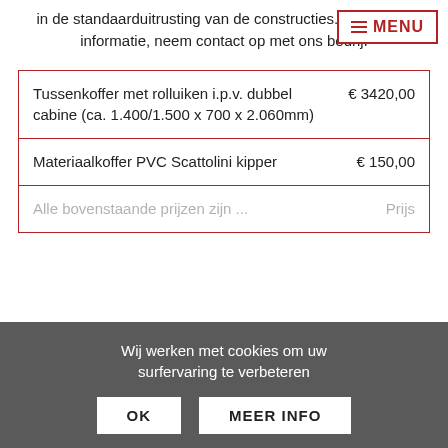in de standaarduitrusting van de constructies. Voor meer informatie, neem contact op met ons bedrijf
[Figure (other): Red-bordered MENU button with hamburger icon lines]
| Tussenkoffer met rolluiken i.p.v. dubbel cabine (ca. 1.400/1.500 x 700 x 2.060mm) | € 3420,00 |
| Materiaalkoffer PVC Scattolini kipper | € 150,00 |
| Alle bovenstaande prijzen ... | Prijs ... |
Wij werken met cookies om uw surfervaring te verbeteren
OK   MEER INFO